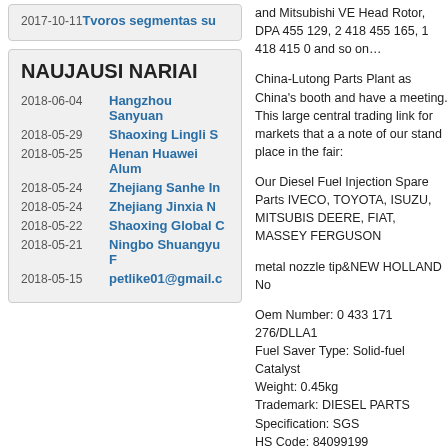2017-10-11  Tvoros segmentas su
NAUJAUSI NARIAI
2018-06-04  Hangzhou Sanyuan
2018-05-29  Shaoxing Lingli S
2018-05-25  Henan Huawei Alum
2018-05-24  Zhejiang Sanhe In
2018-05-24  Zhejiang Jinxia N
2018-05-22  Shaoxing Global C
2018-05-21  Ningbo Shuangyu F
2018-05-15  petlike01@gmail.c
and Mitsubishi VE Head Rotor, DPA 455 129, 2 418 455 165, 1 418 415 0 and so on…
China-Lutong Parts Plant as China's booth and have a meeting. This large central trading link for markets that a a note of our stand place in the fair:
Our Diesel Fuel Injection Spare Parts IVECO, TOYOTA, ISUZU, MITSUBIS DEERE, FIAT, MASSEY FERGUSON
metal nozzle tip&NEW HOLLAND No
Oem Number: 0 433 171 276/DLLA1
Fuel Saver Type: Solid-fuel Catalyst
Weight: 0.45kg
Trademark: DIESEL PARTS
Specification: SGS
HS Code: 84099199
website:https://lutong-diesel.en.china
Vehicle: NEW HOLLAND